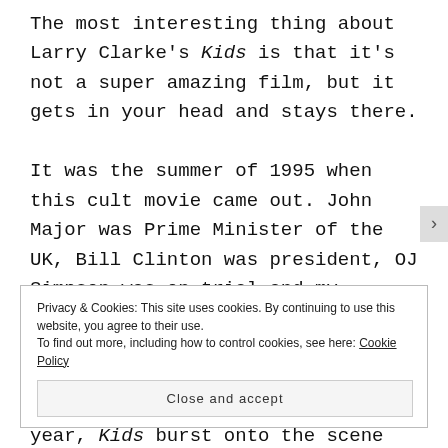The most interesting thing about Larry Clarke's Kids is that it's not a super amazing film, but it gets in your head and stays there.

It was the summer of 1995 when this cult movie came out. John Major was Prime Minister of the UK, Bill Clinton was president, OJ Simpson was on trial and my favourite football team Arsenal had just signed club legend, Dennis Bergkamp. Amongst everything that was going on that year, Kids burst onto the scene and became
Privacy & Cookies: This site uses cookies. By continuing to use this website, you agree to their use.
To find out more, including how to control cookies, see here: Cookie Policy
Close and accept